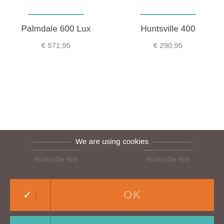Palmdale 600 Lux
€ 571,95
Huntsville 400
€ 290,95
We are using cookies
Huntsville 500
Huntsville 600
✓ | OK
> | Cookie policy